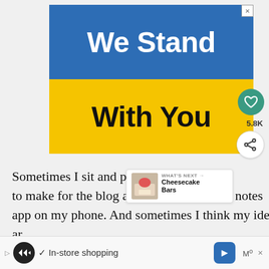[Figure (illustration): Advertisement banner with Ukrainian flag colors. Top half is blue with white bold text 'We Stand', bottom half is yellow with black bold text 'With You'. Close (X) button in top-right corner.]
Sometimes I sit and ponder delicious ba to make for the blog and jot them into the notes app on my phone. And sometimes I think my ideas are just that.
[Figure (screenshot): Bottom browser/app navigation bar with a dark circular icon with arrows, checkmark text 'In-store shopping', a blue navigation arrow button, degree symbol M, and an X close button.]